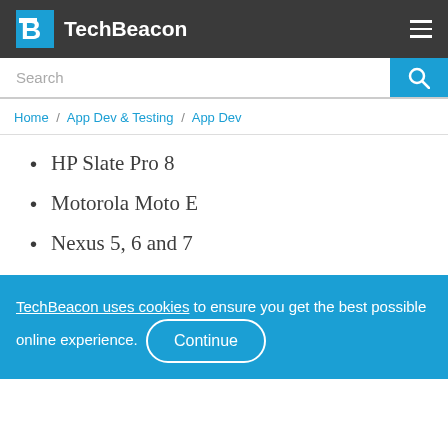TechBeacon
Search
Home / App Dev & Testing / App Dev
HP Slate Pro 8
Motorola Moto E
Nexus 5, 6 and 7
TechBeacon uses cookies to ensure you get the best possible online experience. Continue